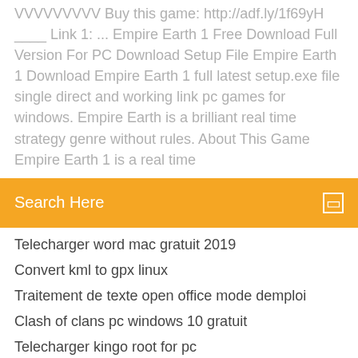VVVVVVVVV Buy this game: http://adf.ly/1f69yH ____ Link 1: ... Empire Earth 1 Free Download Full Version For PC Download Setup File Empire Earth 1 Download Empire Earth 1 full latest setup.exe file single direct and working link pc games for windows. Empire Earth is a brilliant real time strategy genre without rules. About This Game Empire Earth 1 is a real time
Search Here
Telecharger word mac gratuit 2019
Convert kml to gpx linux
Traitement de texte open office mode demploi
Clash of clans pc windows 10 gratuit
Telecharger kingo root for pc
Piriform ccleaner gratuit windows 10
The sims 3 university life télécharger google drive
Supprimer objet sur photoshop
Logiciel de reconnaissance vocale gratuit pour windows 7
Iobit advanced systemcare 10 free